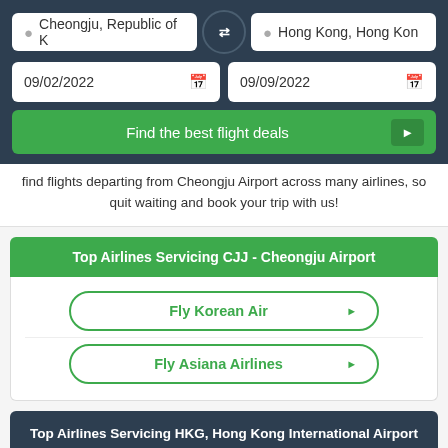[Figure (screenshot): Flight search interface with departure city Cheongju, Republic of Korea and destination Hong Kong, dates 09/02/2022 and 09/09/2022, and Find the best flight deals button]
find flights departing from Cheongju Airport across many airlines, so quit waiting and book your trip with us!
Top Airlines Servicing CJJ - Cheongju Airport
Fly Korean Air
Fly Asiana Airlines
Top Airlines Servicing HKG, Hong Kong International Airport